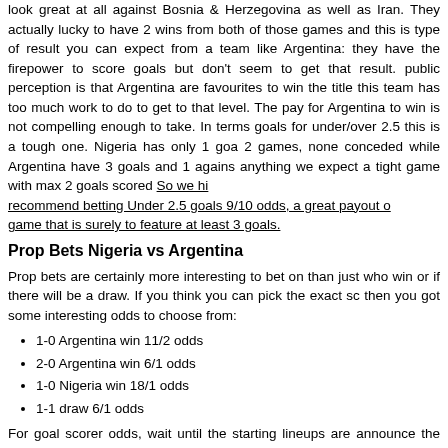look great at all against Bosnia & Herzegovina as well as Iran. They actually lucky to have 2 wins from both of those games and this is type of result you can expect from a team like Argentina: they have the firepower to score goals but don't seem to get that result. public perception is that Argentina are favourites to win the title this team has too much work to do to get to that level. The pay for Argentina to win is not compelling enough to take. In terms goals for under/over 2.5 this is a tough one. Nigeria has only 1 go 2 games, none conceded while Argentina have 3 goals and 1 agains anything we expect a tight game with max 2 goals scored So we hi recommend betting Under 2.5 goals 9/10 odds, a great payout o game that is surely to feature at least 3 goals.
Prop Bets Nigeria vs Argentina
Prop bets are certainly more interesting to bet on than just who win or if there will be a draw. If you think you can pick the exact sc then you got some interesting odds to choose from:
1-0 Argentina win 11/2 odds
2-0 Argentina win 6/1 odds
1-0 Nigeria win 18/1 odds
1-1 draw 6/1 odds
For goal scorer odds, wait until the starting lineups are announce the odds are about 1/1 for Lionel Messi to score then take t